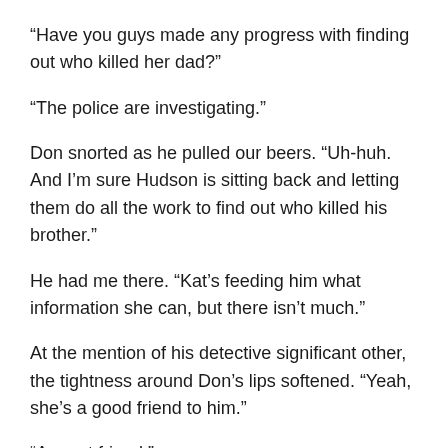“Have you guys made any progress with finding out who killed her dad?”
“The police are investigating.”
Don snorted as he pulled our beers. “Uh-huh. And I’m sure Hudson is sitting back and letting them do all the work to find out who killed his brother.”
He had me there. “Kat’s feeding him what information she can, but there isn’t much.”
At the mention of his detective significant other, the tightness around Don’s lips softened. “Yeah, she’s a good friend to him.”
“A great friend.”
Detective Sergeant Katrina Li was, in fact, the only reason we